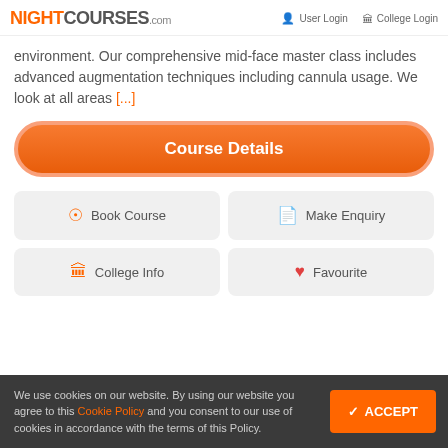NIGHTCOURSES.com  User Login  College Login
environment. Our comprehensive mid-face master class includes advanced augmentation techniques including cannula usage. We look at all areas [...]
Course Details
Book Course
Make Enquiry
College Info
Favourite
We use cookies on our website. By using our website you agree to this Cookie Policy and you consent to our use of cookies in accordance with the terms of this Policy.
ACCEPT